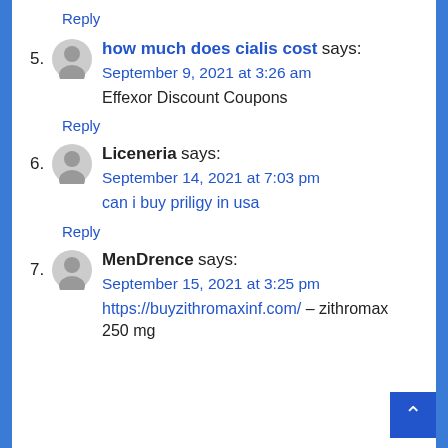Reply
5. how much does cialis cost says: September 9, 2021 at 3:26 am
Effexor Discount Coupons
Reply
6. Liceneria says: September 14, 2021 at 7:03 pm
can i buy priligy in usa
Reply
7. MenDrence says: September 15, 2021 at 3:25 pm
https://buyzithromaxinf.com/ – zithromax 250 mg